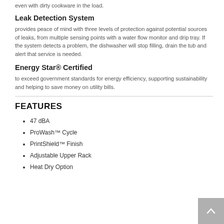even with dirty cookware in the load.
Leak Detection System
provides peace of mind with three levels of protection against potential sources of leaks, from multiple sensing points with a water flow monitor and drip tray. If the system detects a problem, the dishwasher will stop filling, drain the tub and alert that service is needed.
Energy Star® Certified
to exceed government standards for energy efficiency, supporting sustainability and helping to save money on utility bills.
FEATURES
47 dBA
ProWash™ Cycle
PrintShield™ Finish
Adjustable Upper Rack
Heat Dry Option